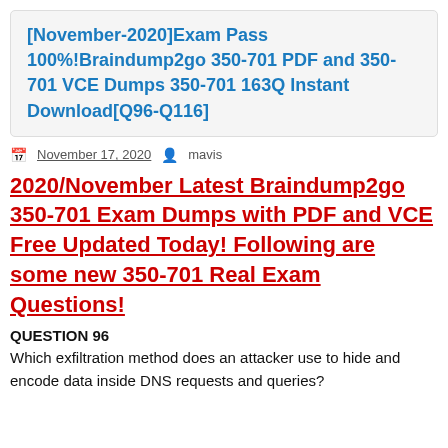[November-2020]Exam Pass 100%!Braindump2go 350-701 PDF and 350-701 VCE Dumps 350-701 163Q Instant Download[Q96-Q116]
November 17, 2020   mavis
2020/November Latest Braindump2go 350-701 Exam Dumps with PDF and VCE Free Updated Today! Following are some new 350-701 Real Exam Questions!
QUESTION 96
Which exfiltration method does an attacker use to hide and encode data inside DNS requests and queries?